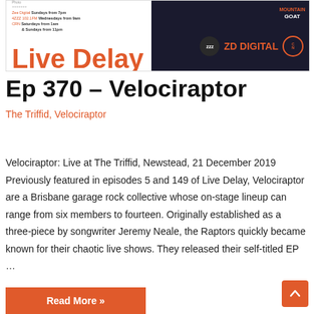[Figure (logo): Live Delay radio show banner with Mountain Goat logo, ZZZ Digital logo, ZD Digital text, and Community Radio Network logo. Text includes: Zee Digital Sundays from 7pm, 4ZZZ 102.1FM Wednesdays from 9am, CRN Saturdays from 1am & Sundays from 11pm. Large orange text reads Live Delay.]
Ep 370 – Velociraptor
The Triffid, Velociraptor
Velociraptor: Live at The Triffid, Newstead, 21 December 2019 Previously featured in episodes 5 and 149 of Live Delay, Velociraptor are a Brisbane garage rock collective whose on-stage lineup can range from six members to fourteen. Originally established as a three-piece by songwriter Jeremy Neale, the Raptors quickly became known for their chaotic live shows. They released their self-titled EP …
Read More »